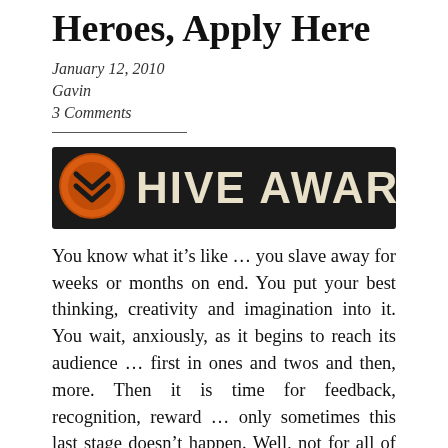Heroes, Apply Here
January 12, 2010
Gavin
3 Comments
[Figure (logo): Hive Awards banner: dark background with orange circular logo on left and 'HIVE AWARDS' text in large cream/beige bold letters]
You know what it’s like … you slave away for weeks or months on end. You put your best thinking, creativity and imagination into it. You wait, anxiously, as it begins to reach its audience … first in ones and twos and then, more. Then it is time for feedback, recognition, reward … only sometimes this last stage doesn’t happen. Well, not for all of us.